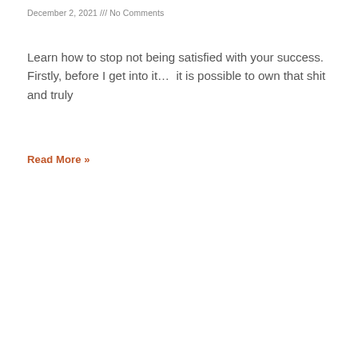December 2, 2021 /// No Comments
Learn how to stop not being satisfied with your success. Firstly, before I get into it…  it is possible to own that shit and truly
Read More »